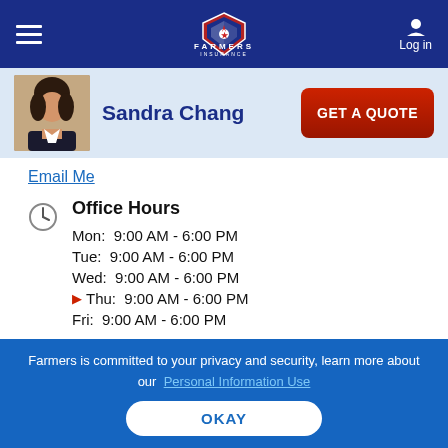Farmers Insurance — Log in
[Figure (photo): Agent profile photo of Sandra Chang, a woman with short dark hair in professional attire]
Sandra Chang
[Figure (other): GET A QUOTE button (red, rounded rectangle)]
Email Me
Office Hours
Mon:  9:00 AM - 6:00 PM
Tue:  9:00 AM - 6:00 PM
Wed:  9:00 AM - 6:00 PM
Thu:  9:00 AM - 6:00 PM
Fri:  9:00 AM - 6:00 PM
Farmers is committed to your privacy and security, learn more about our Personal Information Use. OKAY